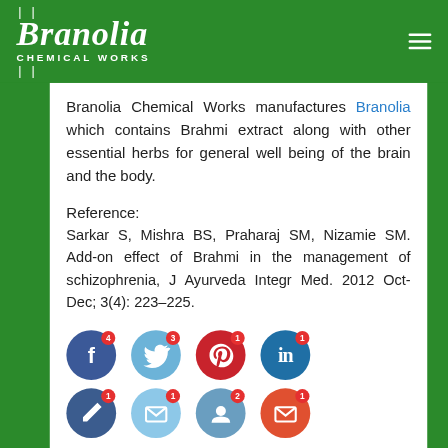[Figure (logo): Branolia Chemical Works logo: italic serif white text 'Branolia' with 'CHEMICAL WORKS' subtitle and pipe decorations on green background]
Branolia Chemical Works manufactures Branolia which contains Brahmi extract along with other essential herbs for general well being of the brain and the body.
Reference:
Sarkar S, Mishra BS, Praharaj SM, Nizamie SM. Add-on effect of Brahmi in the management of schizophrenia, J Ayurveda Integr Med. 2012 Oct-Dec; 3(4): 223–225.
[Figure (infographic): Social media share buttons: Facebook (4 shares), Twitter (3 shares), Pinterest (1 share), LinkedIn (1 share), and partial second row of social icons]